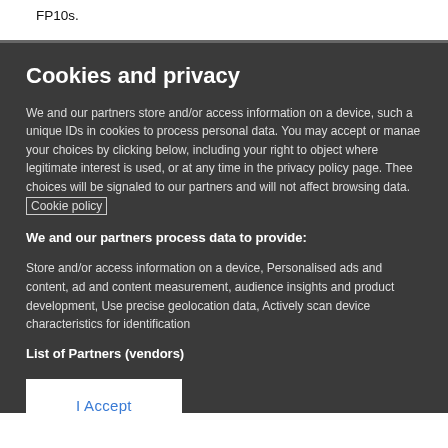FP10s.
Cookies and privacy
We and our partners store and/or access information on a device, such as unique IDs in cookies to process personal data. You may accept or manage your choices by clicking below, including your right to object where legitimate interest is used, or at any time in the privacy policy page. These choices will be signaled to our partners and will not affect browsing data. Cookie policy
We and our partners process data to provide:
Store and/or access information on a device, Personalised ads and content, ad and content measurement, audience insights and product development, Use precise geolocation data, Actively scan device characteristics for identification
List of Partners (vendors)
I Accept